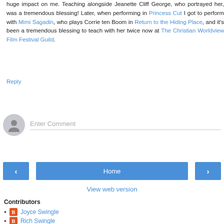huge impact on me. Teaching alongside Jeanette Cliff George, who portrayed her, was a tremendous blessing! Later, when performing in Princess Cut I got to perform with Mimi Sagadin, who plays Corrie ten Boom in Return to the Hiding Place, and it's been a tremendous blessing to teach with her twice now at The Christian Worldview Film Festival Guild.
Reply
[Figure (other): Comment input box with avatar placeholder and 'Enter Comment' text field]
[Figure (other): Navigation bar with left arrow button, Home button, and right arrow button]
View web version
Contributors
Joyce Swingle
Rich Swingle